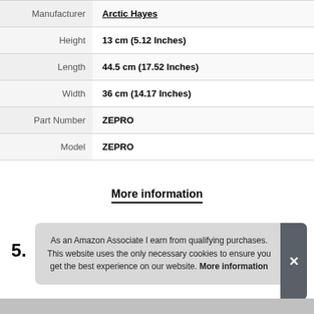| Attribute | Value |
| --- | --- |
| Manufacturer | Arctic Hayes |
| Height | 13 cm (5.12 Inches) |
| Length | 44.5 cm (17.52 Inches) |
| Width | 36 cm (14.17 Inches) |
| Part Number | ZEPRO |
| Model | ZEPRO |
More information
5.
As an Amazon Associate I earn from qualifying purchases. This website uses the only necessary cookies to ensure you get the best experience on our website. More information